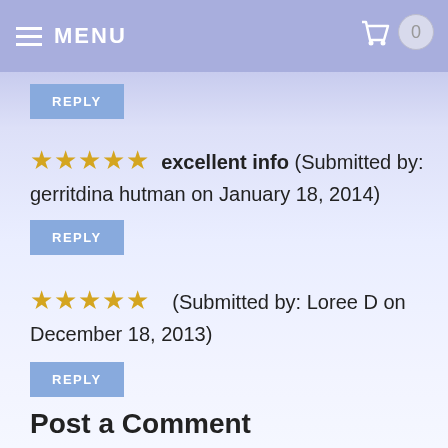MENU  0
[Figure (other): Reply button (blue)]
★★★★★  excellent info  (Submitted by: gerritdina hutman on January 18, 2014)
[Figure (other): Reply button (blue)]
★★★★★    (Submitted by: Loree D on December 18, 2013)
[Figure (other): Reply button (blue)]
Post a Comment